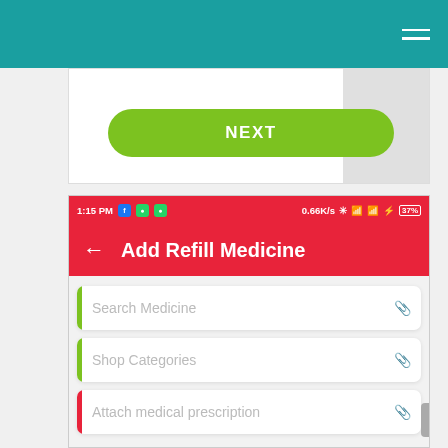[Figure (screenshot): Mobile app screenshot showing teal top navigation bar with hamburger menu, partial upper screen with green NEXT button, and lower screen showing Add Refill Medicine page with status bar (1:15 PM, 0.66K/s, 37%), red app header with back arrow and title 'Add Refill Medicine', and three input fields: Search Medicine, Shop Categories, Attach medical prescription]
1:15 PM  0.66K/s  37%
Add Refill Medicine
Search Medicine
Shop Categories
Attach medical prescription
NEXT